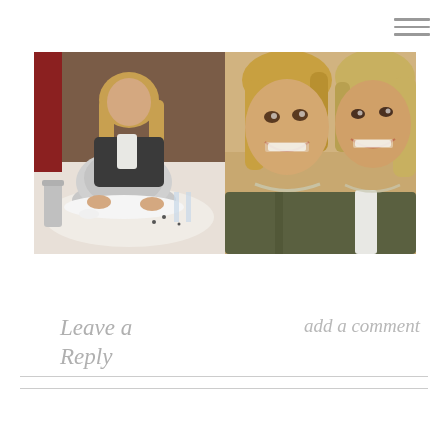[Figure (screenshot): Hamburger menu icon (three horizontal lines) in top right corner]
[Figure (photo): Two side-by-side photos: left shows a woman with dark jacket sitting at a restaurant table with a silver cloche; right shows two women smiling together for a selfie]
Leave a Reply
add a comment